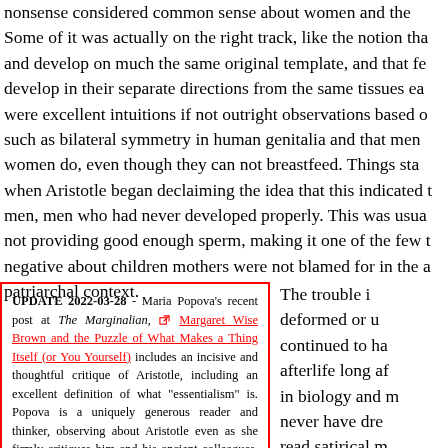nonsense considered common sense about women and the... Some of it was actually on the right track, like the notion that... and develop on much the same original template, and that fe... develop in their separate directions from the same tissues ea... were excellent intuitions if not outright observations based o... such as bilateral symmetry in human genitalia and that men... women do, even though they can not breastfeed. Things sta... when Aristotle began declaiming the idea that this indicated t... men, men who had never developed properly. This was usua... not providing good enough sperm, making it one of the few t... negative about children mothers were not blamed for in the a... patriarchal context.
UPDATE 2022-03-28 - Maria Popova's recent post at The Marginalian, [link] Margaret Wise Brown and the Puzzle of What Makes a Thing Itself (or You Yourself) includes an incisive and thoughtful critique of Aristotle, including an excellent definition of what "essentialism" is. Popova is a uniquely generous reader and thinker, observing about Aristotle even as she firmly critiques him and his ancient colleagues, "Even the deep-fathoming, far-seeing Aristotle fell under the spell of essentialism and, bamboozled by its dangerous implications, came to believe that women belonged lower
The trouble i... deformed or u... continued to ha... afterlife long af... in biology and m... never have dre... read satirical m... this is yes, play... [link] Deformed Fr... march 2012. N... agree that this... in the bitterswe... send ups of en...